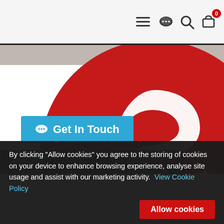[Figure (screenshot): Website navigation bar with hamburger menu, chat icon, search icon, and cart icon with badge showing 0]
[Figure (logo): Large red circle with white stylized letter S logo, partially visible, with dark overlay panel and blue 'Get In Touch' button]
Get In Touch
By clicking "Allow cookies" you agree to the storing of cookies on your device to enhance browsing experience, analyse site usage and assist with our marketing activity.
View Cookie Policy
Allow cookies